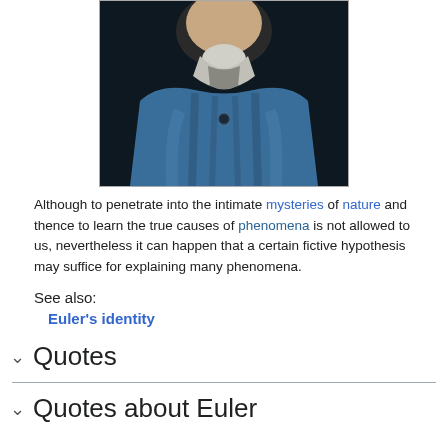[Figure (photo): Portrait painting of Euler wearing a blue coat with silver/white collar, dark background, head partially cut off at top]
Although to penetrate into the intimate mysteries of nature and thence to learn the true causes of phenomena is not allowed to us, nevertheless it can happen that a certain fictive hypothesis may suffice for explaining many phenomena.
See also:
Euler's identity
Quotes
Quotes about Euler